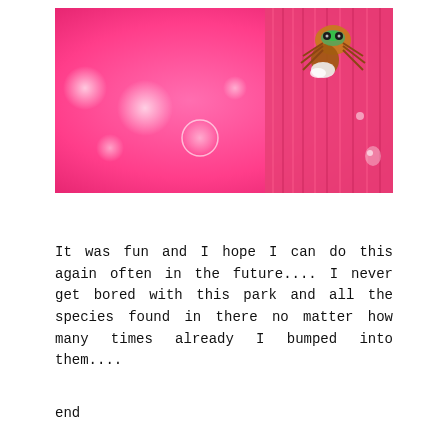[Figure (photo): Macro close-up photograph of a jumping spider on a pink striped surface (likely a flower petal or plant stem), with a bright pink bokeh background featuring soft white circular light spots. The spider is detailed with colorful markings and prominent eyes.]
It was fun and I hope I can do this again often in the future.... I never get bored with this park and all the species found in there no matter how many times already I bumped into them....
end